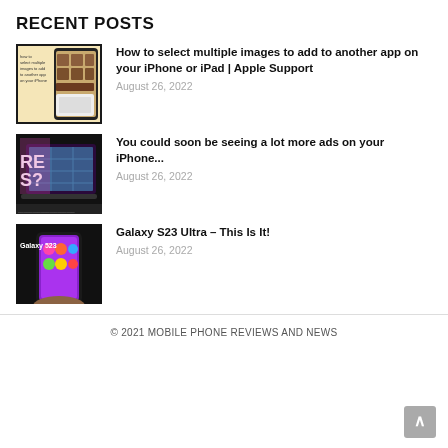RECENT POSTS
[Figure (screenshot): Thumbnail showing Apple support page on iPhone about selecting multiple images]
How to select multiple images to add to another app on your iPhone or iPad | Apple Support
August 26, 2022
[Figure (screenshot): Thumbnail with text RE S? showing iPhone with map app and ads]
You could soon be seeing a lot more ads on your iPhone...
August 26, 2022
[Figure (photo): Thumbnail showing Samsung Galaxy S23 phone being held]
Galaxy S23 Ultra – This Is It!
August 26, 2022
© 2021 MOBILE PHONE REVIEWS AND NEWS